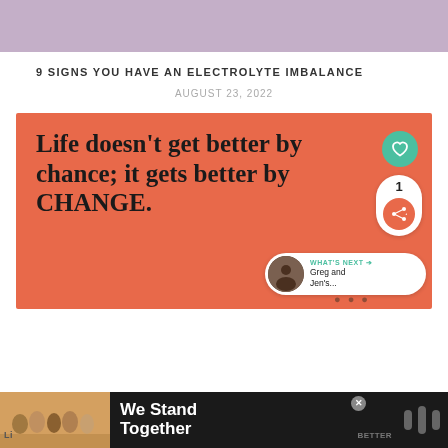[Figure (other): Purple/lavender banner header strip]
9 SIGNS YOU HAVE AN ELECTROLYTE IMBALANCE
AUGUST 23, 2022
[Figure (illustration): Orange/coral background inspirational quote image reading: 'Life doesn't get better by chance; it gets better by CHANGE.' with a heart/like button, share count of 1, share button, and a 'What's Next' thumbnail panel showing Greg and Jen's...]
[Figure (other): Dark advertisement bar at bottom: 'We Stand Together' with people photo on the left and a logo on the right, with a close X button]